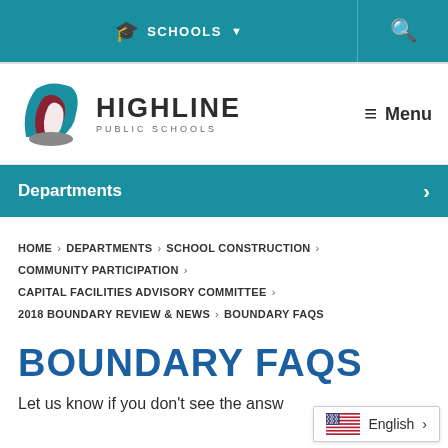SCHOOLS   [search icon]
[Figure (logo): Highline Public Schools logo with stylized hawk/shield icon in teal and dark red, with text HIGHLINE PUBLIC SCHOOLS]
≡ Menu
Departments
HOME > DEPARTMENTS > SCHOOL CONSTRUCTION > COMMUNITY PARTICIPATION > CAPITAL FACILITIES ADVISORY COMMITTEE > 2018 BOUNDARY REVIEW & NEWS > BOUNDARY FAQS
BOUNDARY FAQS
Let us know if you don't see the answ